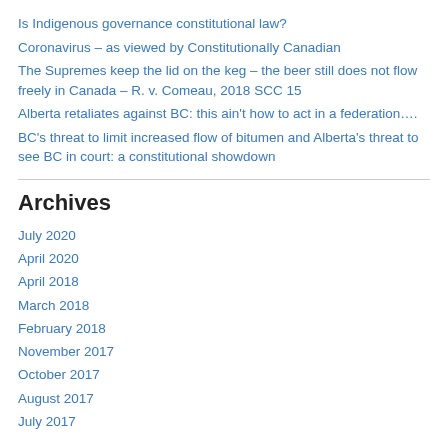Is Indigenous governance constitutional law?
Coronavirus – as viewed by Constitutionally Canadian
The Supremes keep the lid on the keg – the beer still does not flow freely in Canada – R. v. Comeau, 2018 SCC 15
Alberta retaliates against BC: this ain't how to act in a federation….
BC's threat to limit increased flow of bitumen and Alberta's threat to see BC in court: a constitutional showdown
Archives
July 2020
April 2020
April 2018
March 2018
February 2018
November 2017
October 2017
August 2017
July 2017